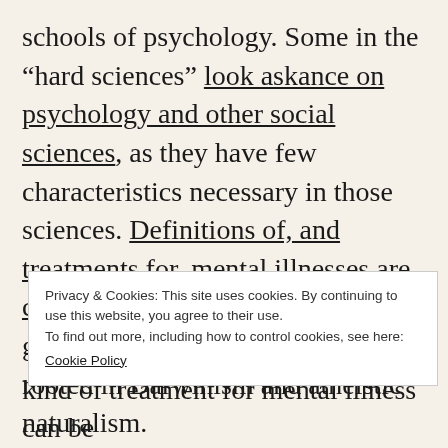schools of psychology. Some in the “hard sciences” look askance on psychology and other social sciences, as they have few characteristics necessary in those sciences. Definitions of, and treatments for, mental illnesses are constantly changing and resemble guesswork. Social sciences are also rooted in Darwinism and atheistic naturalism.
Privacy & Cookies: This site uses cookies. By continuing to use this website, you agree to their use.
To find out more, including how to control cookies, see here:
Cookie Policy
Close and accept
kind of treatment for mental illness can be